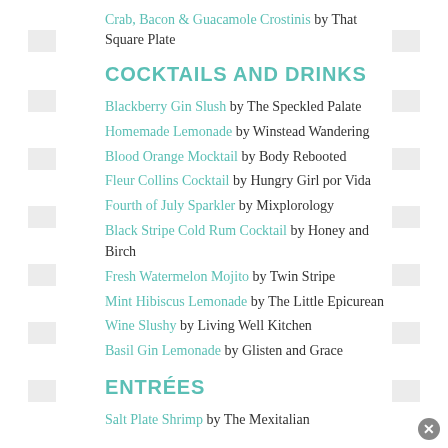Crab, Bacon & Guacamole Crostinis by That Square Plate
COCKTAILS AND DRINKS
Blackberry Gin Slush by The Speckled Palate
Homemade Lemonade by Winstead Wandering
Blood Orange Mocktail by Body Rebooted
Fleur Collins Cocktail by Hungry Girl por Vida
Fourth of July Sparkler by Mixplorology
Black Stripe Cold Rum Cocktail by Honey and Birch
Fresh Watermelon Mojito by Twin Stripe
Mint Hibiscus Lemonade by The Little Epicurean
Wine Slushy by Living Well Kitchen
Basil Gin Lemonade by Glisten and Grace
ENTRÉES
Salt Plate Shrimp by The Mexitalian